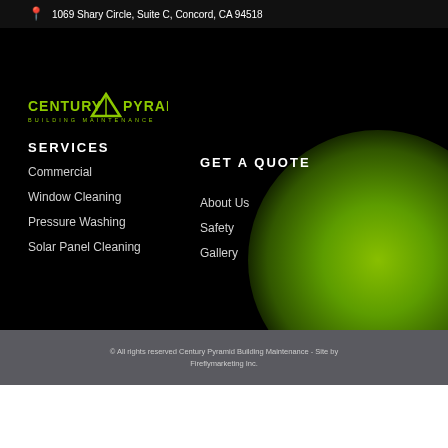1069 Shary Circle, Suite C, Concord, CA 94518
[Figure (logo): Century Pyramid Building Maintenance logo with green triangle/pyramid icon and green text]
SERVICES
GET A QUOTE
Commercial
Window Cleaning
About Us
Pressure Washing
Safety
Solar Panel Cleaning
Gallery
© All rights reserved Century Pyramid Building Maintenance - Site by Fireflymarketing Inc.